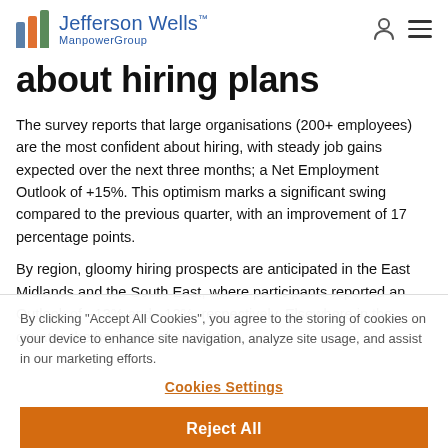Jefferson Wells ManpowerGroup
about hiring plans
The survey reports that large organisations (200+ employees) are the most confident about hiring, with steady job gains expected over the next three months; a Net Employment Outlook of +15%. This optimism marks a significant swing compared to the previous quarter, with an improvement of 17 percentage points.
By region, gloomy hiring prospects are anticipated in the East Midlands and the South East, where participants reported an Outlook of −13% and −12%, respectively. Elsewhere in the country, the horizon looks brighter.
By clicking "Accept All Cookies", you agree to the storing of cookies on your device to enhance site navigation, analyze site usage, and assist in our marketing efforts.
Cookies Settings
Reject All